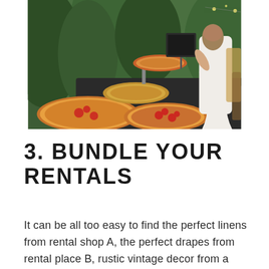[Figure (photo): A bride in a white dress serving or browsing a pizza buffet table outdoors at what appears to be a wedding reception, with multiple pizzas on display stands and a lush green background.]
3. BUNDLE YOUR RENTALS
It can be all too easy to find the perfect linens from rental shop A, the perfect drapes from rental place B, rustic vintage decor from a specialty rental company, romantic lighting from a specialty lighting shop, and audio